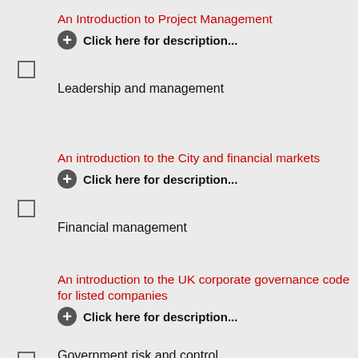An Introduction to Project Management
Click here for description...
Leadership and management
An introduction to the City and financial markets
Click here for description...
Financial management
An introduction to the UK corporate governance code for listed companies
Click here for description...
Government risk and control